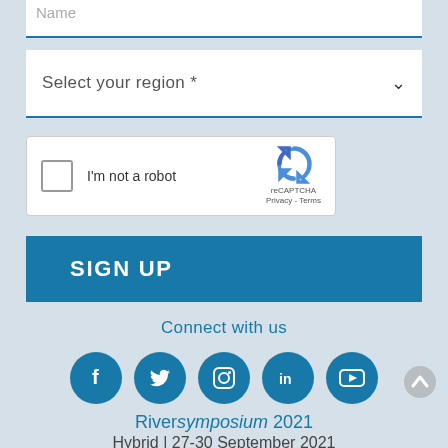Name
Select your region *
[Figure (screenshot): reCAPTCHA widget with checkbox labeled 'I'm not a robot' and Google reCAPTCHA logo with Privacy and Terms links]
SIGN UP
Connect with us
[Figure (infographic): Five social media icons: Facebook, Twitter, Instagram, LinkedIn, YouTube — all in teal/blue circles]
Riversymposium 2021
Hybrid | 27-30 September 2021